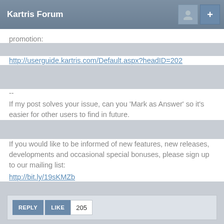Kartris Forum
promotion:
http://userguide.kartris.com/Default.aspx?headID=202
--
If my post solves your issue, can you 'Mark as Answer' so it's easier for other users to find in future.
If you would like to be informed of new features, new releases, developments and occasional special bonuses, please sign up to our mailing list:
http://bit.ly/19sKMZb
REPLY   LIKE   205